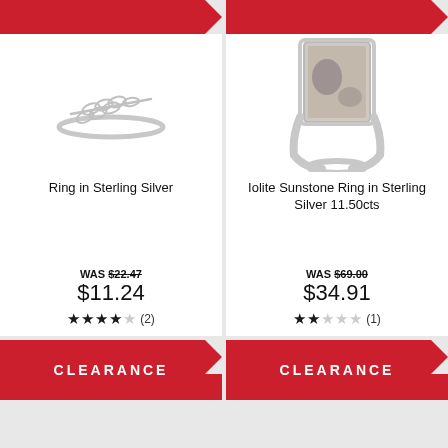[Figure (photo): Silver leaf/branch ring on white background]
Ring in Sterling Silver
WAS $22.47
$11.24
★★★★☆ (2)
[Figure (photo): Iolite Sunstone ring in sterling silver on white background]
Iolite Sunstone Ring in Sterling Silver 11.50cts
WAS $69.00
$34.91
★★☆☆☆ (1)
CLEARANCE
CLEARANCE